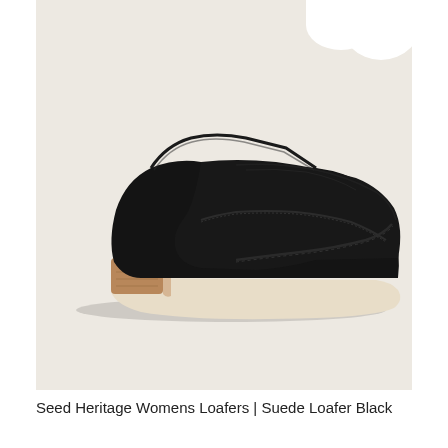[Figure (photo): A black suede women's loafer shoe photographed from the side on a beige/off-white background. The shoe has a low wooden heel in a warm brown tone, a flat sole with cream/natural leather outsole, and classic moccasin-style stitching on the toe. The upper is entirely black suede with a sleek vamp and a subtle seam detail.]
Seed Heritage Womens Loafers | Suede Loafer Black